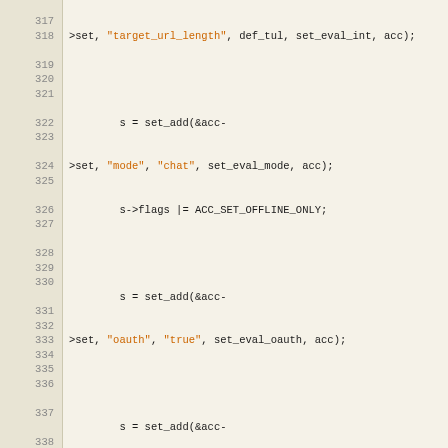[Figure (screenshot): Source code listing in C showing lines 317-341 of a Twitter plugin implementation, with syntax highlighting. Line numbers on the left, code on the right. Functions include set_add calls with settings like mode/chat, oauth/true, show_ids/true, show_old_mentions/0, strip_newlines/false, a twitter strcmp block with stream/true, and a twitter_login function definition.]